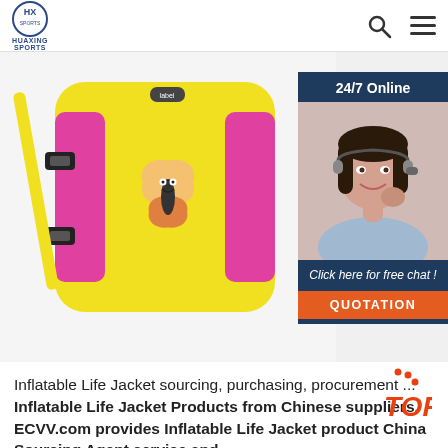HUAXING SPORTS
[Figure (photo): Yellow and pink inflatable life jacket with butterfly design, black buckles and yellow straps, displayed against white background. Overlaid with a customer service chat widget showing '24/7 Online', a woman with headset, 'Click here for free chat!' text, and an orange QUOTATION button.]
Inflatable Life Jacket sourcing, purchasing, procurement ...
Inflatable Life Jacket Products from Chinese suppliers. ECVV.com provides Inflatable Life Jacket product China Sourcing Agent service and